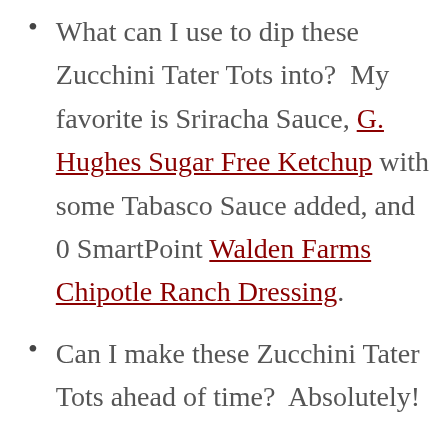What can I use to dip these Zucchini Tater Tots into?  My favorite is Sriracha Sauce, G. Hughes Sugar Free Ketchup with some Tabasco Sauce added, and 0 SmartPoint Walden Farms Chipotle Ranch Dressing.
Can I make these Zucchini Tater Tots ahead of time?  Absolutely!  After baking, once they are cooled, put them in an airtight